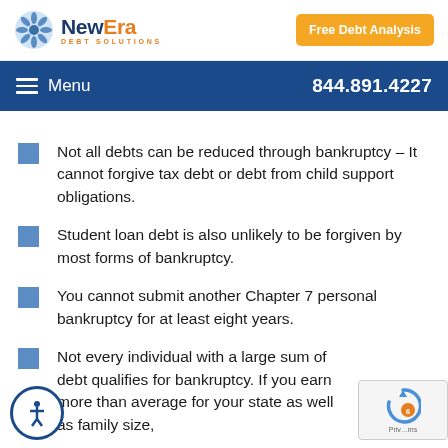NewEra Debt Solutions — Free Debt Analysis | Menu | 844.891.4227
Not all debts can be reduced through bankruptcy – It cannot forgive tax debt or debt from child support obligations.
Student loan debt is also unlikely to be forgiven by most forms of bankruptcy.
You cannot submit another Chapter 7 personal bankruptcy for at least eight years.
Not every individual with a large sum of debt qualifies for bankruptcy. If you earn more than average for your state as well as family size,